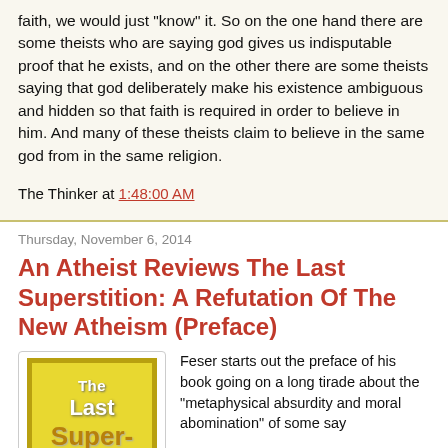faith, we would just "know" it. So on the one hand there are some theists who are saying god gives us indisputable proof that he exists, and on the other there are some theists saying that god deliberately make his existence ambiguous and hidden so that faith is required in order to believe in him. And many of these theists claim to believe in the same god from in the same religion.
The Thinker at 1:48:00 AM
Thursday, November 6, 2014
An Atheist Reviews The Last Superstition: A Refutation Of The New Atheism (Preface)
[Figure (illustration): Book cover of 'The Last Superstition' with yellow background and dark border, showing partial title text 'The Last Super-']
Feser starts out the preface of his book going on a long tirade about the "metaphysical absurdity and moral abomination" of some say